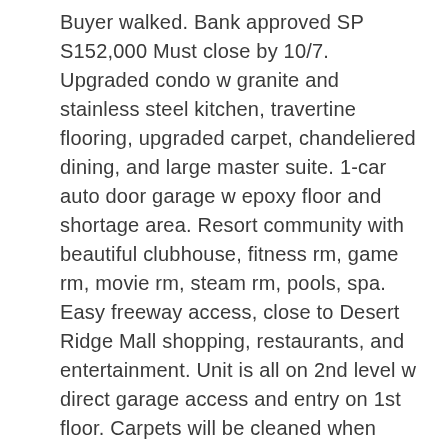Buyer walked. Bank approved SP S152,000 Must close by 10/7. Upgraded condo w granite and stainless steel kitchen, travertine flooring, upgraded carpet, chandeliered dining, and large master suite. 1-car auto door garage w epoxy floor and shortage area. Resort community with beautiful clubhouse, fitness rm, game rm, movie rm, steam rm, pools, spa. Easy freeway access, close to Desert Ridge Mall shopping, restaurants, and entertainment. Unit is all on 2nd level w direct garage access and entry on 1st floor. Carpets will be cleaned when tenant's lease exp 8/31.